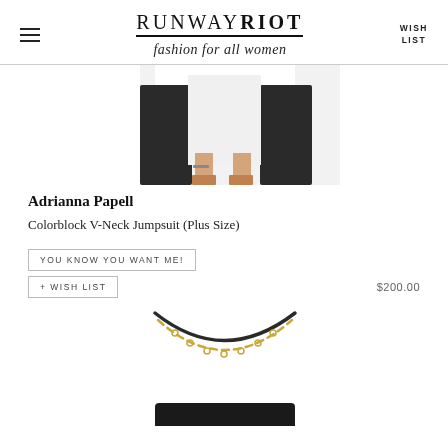RUNWAY RIOT — fashion for all women — WISH LIST
[Figure (photo): Partial view of a black and white colorblock jumpsuit on a model, cropped to show mid-body and legs]
Adrianna Papell
Colorblock V-Neck Jumpsuit (Plus Size)
YOU KNOW YOU WANT ME!
+ WISH LIST
$200.00
[Figure (photo): Top portion of a handbag showing a thin black leather strap and gold chain strap against white background]